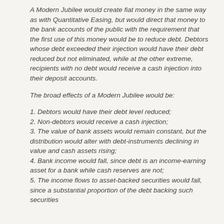A Modern Jubilee would create fiat money in the same way as with Quantitative Easing, but would direct that money to the bank accounts of the public with the requirement that the first use of this money would be to reduce debt. Debtors whose debt exceeded their injection would have their debt reduced but not eliminated, while at the other extreme, recipients with no debt would receive a cash injection into their deposit accounts.
The broad effects of a Modern Jubilee would be:
1. Debtors would have their debt level reduced;
2. Non-debtors would receive a cash injection;
3. The value of bank assets would remain constant, but the distribution would alter with debt-instruments declining in value and cash assets rising;
4. Bank income would fall, since debt is an income-earning asset for a bank while cash reserves are not;
5. The income flows to asset-backed securities would fall, since a substantial proportion of the debt backing such securities would be paid off early;